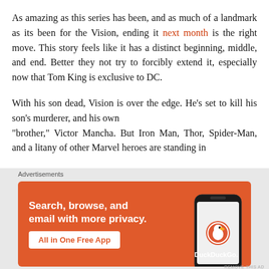As amazing as this series has been, and as much of a landmark as its been for the Vision, ending it next month is the right move. This story feels like it has a distinct beginning, middle, and end. Better they not try to forcibly extend it, especially now that Tom King is exclusive to DC.
With his son dead, Vision is over the edge. He’s set to kill his son’s murderer, and his own “brother,” Victor Mancha. But Iron Man, Thor, Spider-Man, and a litany of other Marvel heroes are standing in
[Figure (screenshot): DuckDuckGo advertisement banner with orange background. Text reads 'Search, browse, and email with more privacy. All in One Free App' with a DuckDuckGo logo and stylized phone graphic.]